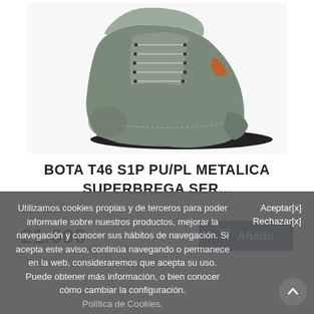[Figure (photo): Grey suede safety boot with laces, orange accent, rubber sole — BOTA T46 S1P PU/PL METALICA SUPERBREGA]
BOTA T46 S1P PU/PL METALICA SUPERBREGA SER...
Ref: 60034
21.60€
Añadir
Detalles
Utilizamos cookies propias y de terceros para poder informarle sobre nuestros productos, mejorar la navegación y conocer sus hábitos de navegación. Si acepta este aviso, continúa navegando o permanece en la web, consideraremos que acepta su uso. Puede obtener más información, o bien conocer cómo cambiar la configuración. Política de Cookies.
Aceptar[x]
Rechazar[x]